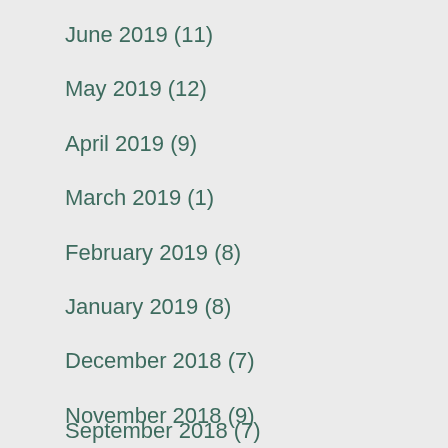June 2019 (11)
May 2019 (12)
April 2019 (9)
March 2019 (1)
February 2019 (8)
January 2019 (8)
December 2018 (7)
November 2018 (9)
October 2018 (10)
September 2018 (7)